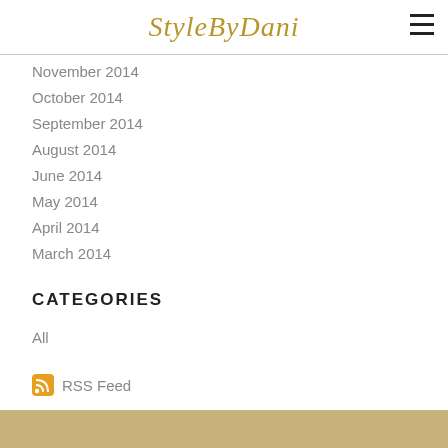StyleByDani
November 2014
October 2014
September 2014
August 2014
June 2014
May 2014
April 2014
March 2014
CATEGORIES
All
RSS Feed